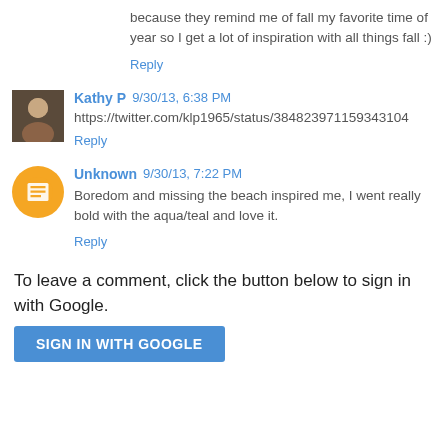because they remind me of fall my favorite time of year so I get a lot of inspiration with all things fall :)
Reply
Kathy P 9/30/13, 6:38 PM
https://twitter.com/klp1965/status/384823971159343104
Reply
Unknown 9/30/13, 7:22 PM
Boredom and missing the beach inspired me, I went really bold with the aqua/teal and love it.
Reply
To leave a comment, click the button below to sign in with Google.
SIGN IN WITH GOOGLE